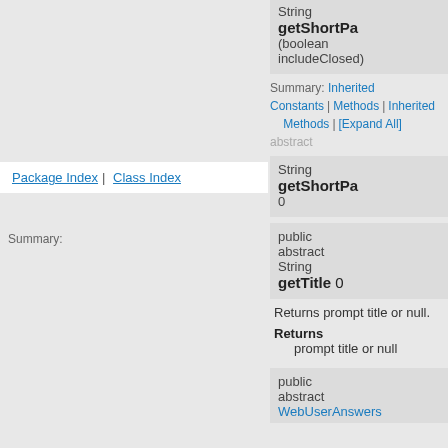String getShortPa (boolean includeClosed)
Package Index | Class Index
Summary: Inherited Constants | Methods | Inherited Methods | [Expand All] abstract
String getShortPa 0
public abstract String getTitle 0
Returns prompt title or null.
Returns
prompt title or null
public abstract WebUserAnswers